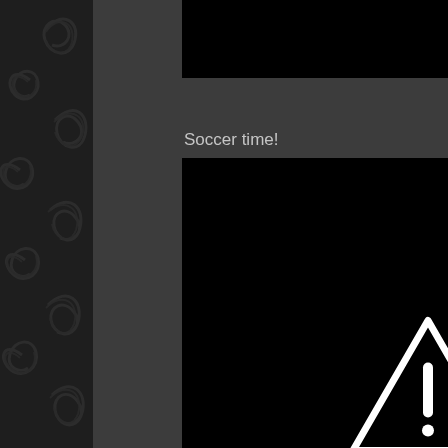[Figure (other): Dark decorative swirl/scroll pattern sidebar on the left edge of the page]
[Figure (other): Black image block at top, content not visible (cropped/offscreen top)]
Soccer time!
[Figure (other): Black image block with white warning triangle exclamation mark icon in center — broken/unavailable media placeholder]
[Figure (other): Black image block with white warning triangle exclamation mark icon partially visible at bottom — broken/unavailable media placeholder]